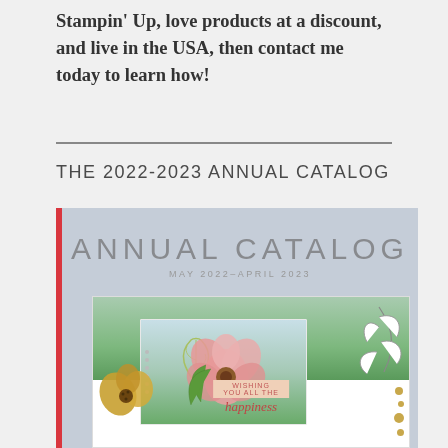Stampin' Up, love products at a discount, and live in the USA, then contact me today to learn how!
THE 2022-2023 ANNUAL CATALOG
[Figure (photo): Cover of the Stampin' Up Annual Catalog May 2022-April 2023, showing floral card craft with pink flower, yellow flowers, and green leaves on a light blue-grey background, with red spine bar on left side.]